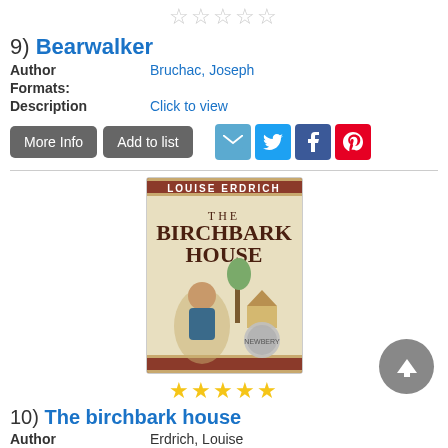[Figure (other): Five empty star rating icons in a row]
9) Bearwalker
Author: Bruchac, Joseph
Formats:
Description: Click to view
[Figure (other): More Info and Add to list buttons, plus email, Twitter, Facebook, Pinterest share icons]
[Figure (photo): Book cover of The Birchbark House by Louise Erdrich, showing a young Native American girl near a birchbark house with a Newbery Honor medal]
[Figure (other): Five gold star rating icons in a row]
10) The birchbark house
Author: Erdrich, Louise